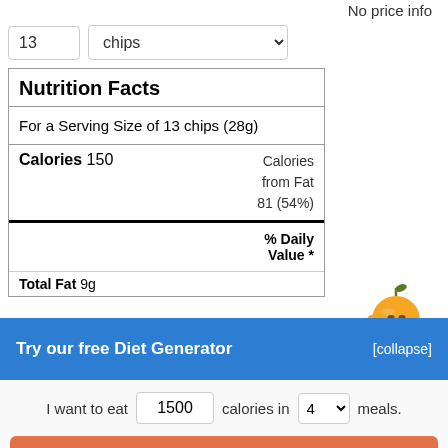No price info
13   chips
| Nutrition Facts |
| For a Serving Size of 13 chips (28g) |
| Calories 150 | Calories from Fat 81 (54%) |
|  | % Daily Value * |
| Total Fat 9g |  |
[Figure (illustration): Orange cartoon mascot character]
Try our free Diet Generator
[collapse]
I want to eat 1500 calories in 4 meals.
Generate